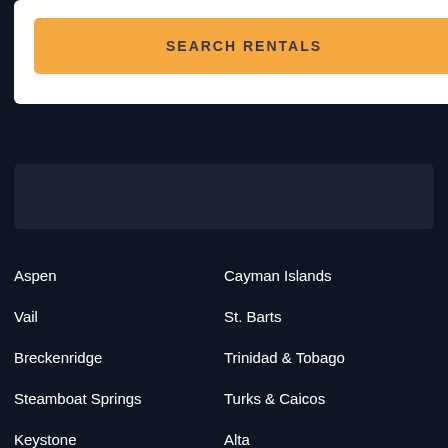[Figure (screenshot): Orange 'SEARCH RENTALS' button on white card background]
[Figure (screenshot): Dark gray/navy rounded rectangle box, appears to be a search or filter bar area]
Aspen
Cayman Islands
Vail
St. Barts
Breckenridge
Trinidad & Tobago
Steamboat Springs
Turks & Caicos
Keystone
Alta